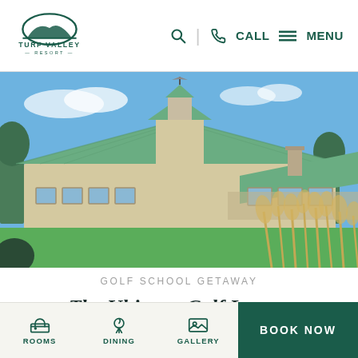Turf Valley Resort — CALL | MENU navigation header
[Figure (photo): Exterior photo of Turf Valley Resort clubhouse with green metal roof, stone elements, surrounded by golf course green lawn and ornamental grasses under a blue sky]
GOLF SCHOOL GETAWAY
The Ultimate Golf Lesson
ROOMS | DINING | GALLERY | BOOK NOW